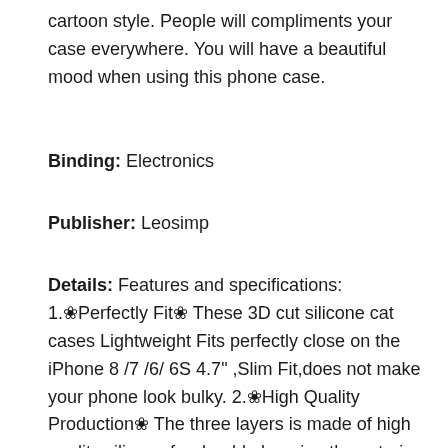cartoon style. People will compliments your case everywhere. You will have a beautiful mood when using this phone case.
Binding: Electronics
Publisher: Leosimp
Details: Features and specifications: 1.✿Perfectly Fit✿ These 3D cut silicone cat cases Lightweight Fits perfectly close on the iPhone 8 /7 /6/ 6S 4.7" ,Slim Fit,does not make your phone look bulky. 2.✿High Quality Production✿ The three layers is made of high quality silicone for durable keeping the exterior lasting as new. Processed by anti-deformation enhancement, it is not easy to cause deformation after repeated use and long time use. Made of high quality...